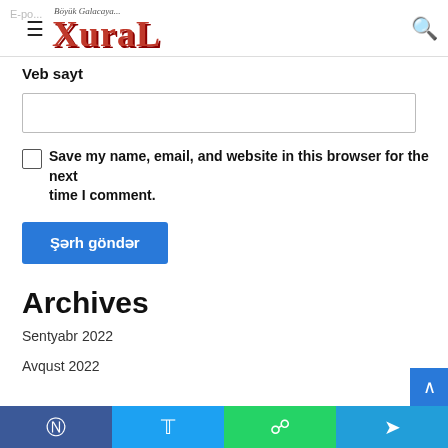XuraL — Böyük Galacaya...
Veb sayt
Save my name, email, and website in this browser for the next time I comment.
Şərh göndər
Archives
Sentyabr 2022
Avqust 2022